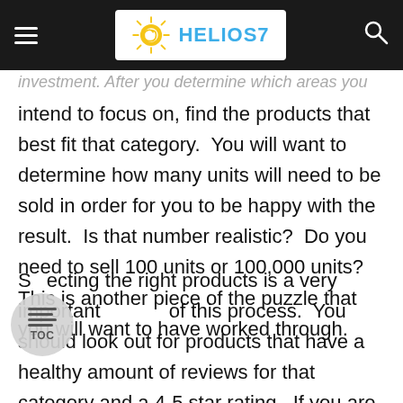HELIOS7
investment. After you determine which areas you intend to focus on, find the products that best fit that category.  You will want to determine how many units will need to be sold in order for you to be happy with the result.  Is that number realistic?  Do you need to sell 100 units or 100,000 units?  This is another piece of the puzzle that you will want to have worked through.
Selecting the right products is a very important part of this process.  You should look out for products that have a healthy amount of reviews for that category and a 4-5 star rating.  If you are directing your customer to low ranked goods, you